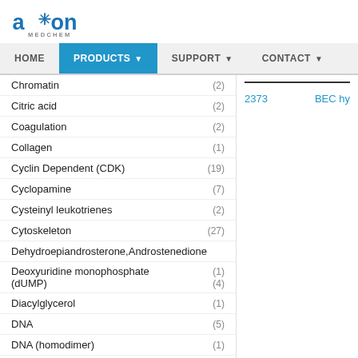Axon Medchem
Chromatin (2)
Citric acid (2)
Coagulation (2)
Collagen (1)
Cyclin Dependent (CDK) (19)
Cyclopamine (7)
Cysteinyl leukotrienes (2)
Cytoskeleton (27)
Dehydroepiandrosterone,Androstenedione
Deoxyuridine monophosphate (dUMP) (1)(4)
Diacylglycerol (1)
DNA (5)
DNA (homodimer) (1)
DNA-CDN (7)
DNA-damage response (5)
DNA-RNA (127)
2373
BEC hy